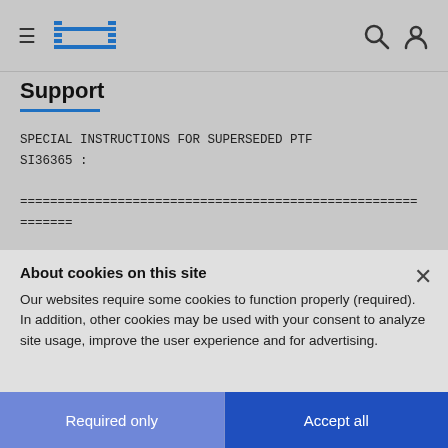IBM Support
Support
SPECIAL INSTRUCTIONS FOR SUPERSEDED PTF
SI36365 :
=====================================================
=======
About cookies on this site
Our websites require some cookies to function properly (required). In addition, other cookies may be used with your consent to analyze site usage, improve the user experience and for advertising.
For more information, please review your Cookie preferences options and IBM's privacy statement.
Required only
Accept all